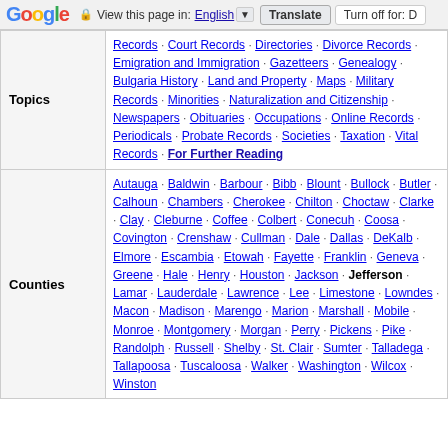Google | View this page in: English | Translate | Turn off for: D
|  |  |
| --- | --- |
| Topics | Records · Court Records · Directories · Divorce Records · Emigration and Immigration · Gazetteers · Genealogy · Bulgaria History · Land and Property · Maps · Military Records · Minorities · Naturalization and Citizenship · Newspapers · Obituaries · Occupations · Online Records · Periodicals · Probate Records · Societies · Taxation · Vital Records · For Further Reading |
| Counties | Autauga · Baldwin · Barbour · Bibb · Blount · Bullock · Butler · Calhoun · Chambers · Cherokee · Chilton · Choctaw · Clarke · Clay · Cleburne · Coffee · Colbert · Conecuh · Coosa · Covington · Crenshaw · Cullman · Dale · Dallas · DeKalb · Elmore · Escambia · Etowah · Fayette · Franklin · Geneva · Greene · Hale · Henry · Houston · Jackson · Jefferson · Lamar · Lauderdale · Lawrence · Lee · Limestone · Lowndes · Macon · Madison · Marengo · Marion · Marshall · Mobile · Monroe · Montgomery · Morgan · Perry · Pickens · Pike · Randolph · Russell · Shelby · St. Clair · Sumter · Talladega · Tallapoosa · Tuscaloosa · Walker · Washington · Wilcox · Winston |